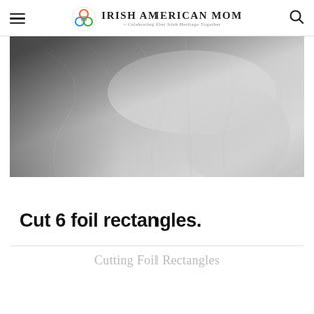Irish American Mom - Celebrating Our Irish Heritage Together
[Figure (photo): Close-up photograph of crinkled aluminum foil, showing reflective silver and darker gray areas of creased metallic foil. Text overlay at bottom reads: Cut 6 foil rectangles.]
Cutting Foil Rectangles